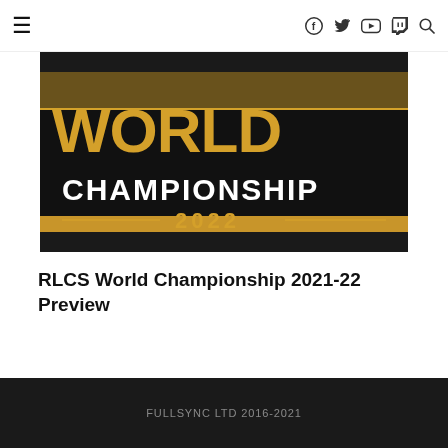≡   f  Twitter  YouTube  Twitch  🔍
[Figure (photo): WORLD CHAMPIONSHIP 2022 logo on gold and black background]
RLCS World Championship 2021-22 Preview
FULLSYNC LTD 2016-2021